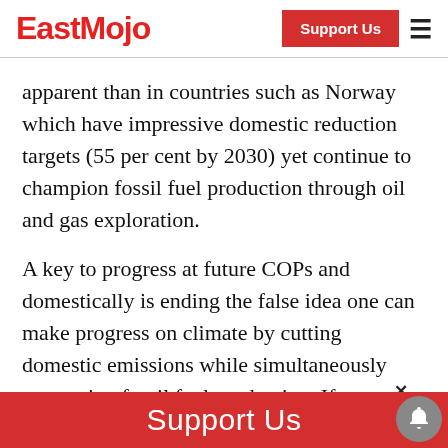EastMojo | Support Us
apparent than in countries such as Norway which have impressive domestic reduction targets (55 per cent by 2030) yet continue to champion fossil fuel production through oil and gas exploration.
A key to progress at future COPs and domestically is ending the false idea one can make progress on climate by cutting domestic emissions while simultaneously supporting fossil fuel production. If count...
Support Us